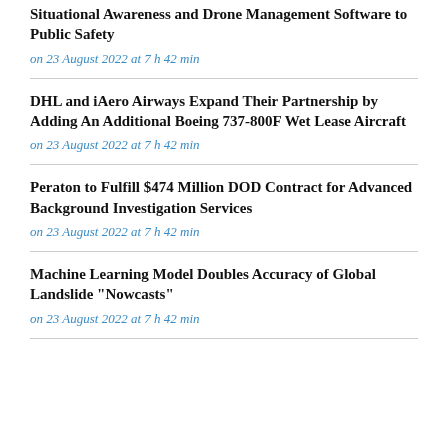Situational Awareness and Drone Management Software to Public Safety
on 23 August 2022 at 7 h 42 min
DHL and iAero Airways Expand Their Partnership by Adding An Additional Boeing 737-800F Wet Lease Aircraft
on 23 August 2022 at 7 h 42 min
Peraton to Fulfill $474 Million DOD Contract for Advanced Background Investigation Services
on 23 August 2022 at 7 h 42 min
Machine Learning Model Doubles Accuracy of Global Landslide "Nowcasts"
on 23 August 2022 at 7 h 42 min